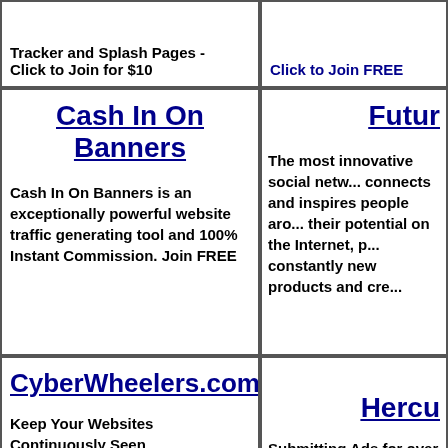Tracker and Splash Pages - Click to Join for $10
Click to Join FREE
Cash In On Banners
Cash In On Banners is an exceptionally powerful website traffic generating tool and 100% Instant Commission. Join FREE
Futu...
The most innovative social netw... connects and inspires people aro... their potential on the Internet, p... constantly new products and cre...
CyberWheelers.com
Keep Your Websites Continuously Seen by Real People 24/7!
Hercu...
Submitting Ads for over 9 years
Froggy Hits
HitsMo...